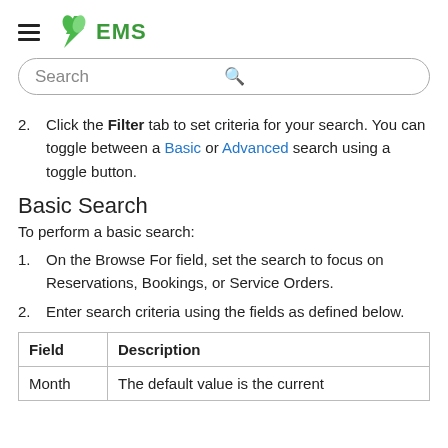EMS
Search
2. Click the Filter tab to set criteria for your search. You can toggle between a Basic or Advanced search using a toggle button.
Basic Search
To perform a basic search:
1. On the Browse For field, set the search to focus on Reservations, Bookings, or Service Orders.
2. Enter search criteria using the fields as defined below.
| Field | Description |
| --- | --- |
| Month | The default value is the current |